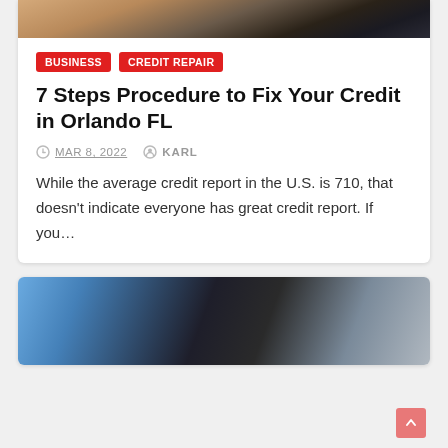[Figure (photo): Partial photo visible at top of first card — person with phone/financial context, cropped]
BUSINESS
CREDIT REPAIR
7 Steps Procedure to Fix Your Credit in Orlando FL
MAR 8, 2022   KARL
While the average credit report in the U.S. is 710, that doesn't indicate everyone has great credit report. If you…
[Figure (photo): Partial photo at bottom — person in blue clothing near a door with handle, cropped]